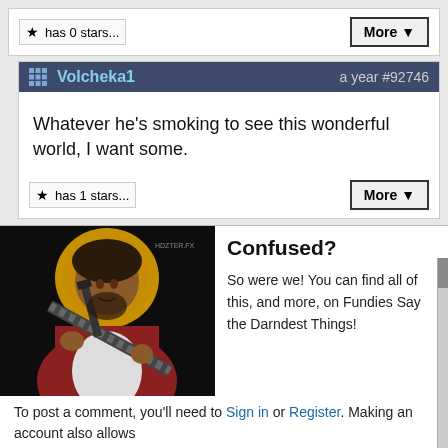has 0 stars...
Volcheka1   a year #92746
Whatever he's smoking to see this wonderful world, I want some.
has 1 stars...
[Figure (illustration): Illustration of Jesus Christ figure holding a machine gun with ammunition belt, golden halo behind head, dark background]
Confused?
So were we! You can find all of this, and more, on Fundies Say the Darndest Things!
To post a comment, you'll need to Sign in or Register. Making an account also allows you to claim credit for submitting quotes, and to vote on comments and quotes!